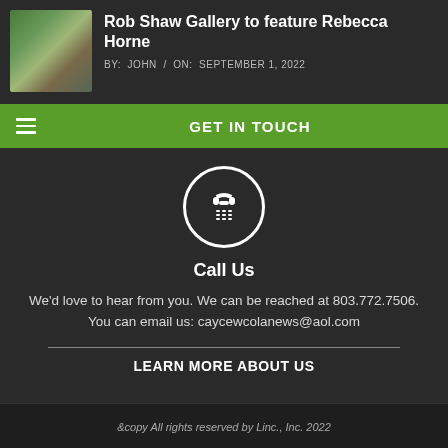Rob Shaw Gallery to feature Rebecca Horne
BY: JOHN / ON: SEPTEMBER 1, 2022
GET IN TOUCH
[Figure (illustration): White phone/dial icon inside a white circle]
Call Us
We'd love to hear from you. We can be reached at 803.772.7506. You can email us: caycewcolanews@aol.com
LEARN MORE ABOUT US
&copy All rights reserved by Linc., Inc. 2022